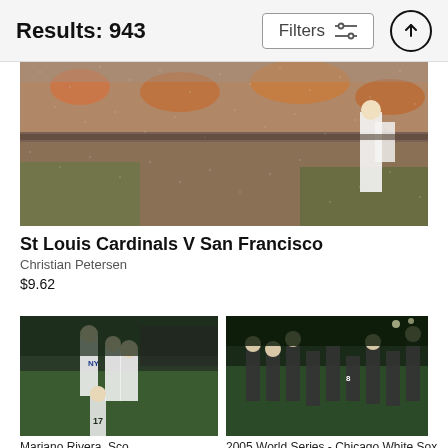Results: 943
[Figure (photo): Baseball game photo showing players on field in rainy conditions with orange-clad crowd in background - St Louis Cardinals V San Francisco game]
St Louis Cardinals V San Francisco
Christian Petersen
$9.62
[Figure (photo): New York Yankees players celebrating on field, players wearing white pinstripe uniforms, number 17 visible - Mariano Rivera photo]
[Figure (photo): 2005 World Series - Chicago White Sox players celebrating on field at night]
Mariano Rivera, Sco...
2005 World Series - Chicago White Sox...